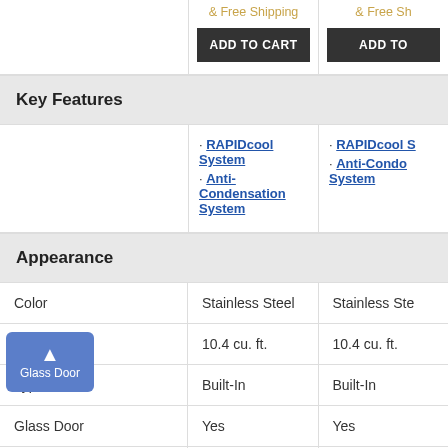& Free Shipping
ADD TO CART
Key Features
• RAPIDcool System • Anti-Condensation System
• RAPIDcool System • Anti-Condensation System
Appearance
|  | Product 1 | Product 2 |
| --- | --- | --- |
| Color | Stainless Steel | Stainless Steel |
| Capacity | 10.4 cu. ft. | 10.4 cu. ft. |
| Type | Built-In | Built-In |
| Glass Door | Yes | Yes |
| Size | Compact | Compact |